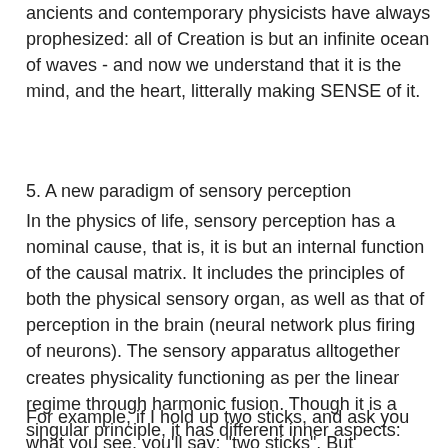ancients and contemporary physicists have always prophesized: all of Creation is but an infinite ocean of waves - and now we understand that it is the mind, and the heart, litterally making SENSE of it.
5. A new paradigm of sensory perception
In the physics of life, sensory perception has a nominal cause, that is, it is but an internal function of the causal matrix. It includes the principles of both the physical sensory organ, as well as that of perception in the brain (neural network plus firing of neurons). The sensory apparatus alltogether creates physicality functioning as per the linear regime through harmonic fusion. Though it is a singular principle, it has different inner aspects: linear spectral decomposition, actual harmonic fusion, and merger in back into the non-linear regime. In retrospect, fusion can be understood as sequential assessment, and its binding factor is memory.
For example, if I hold up two sticks, and ask you what you see, you'll say: "two sticks". But scientifically the correct